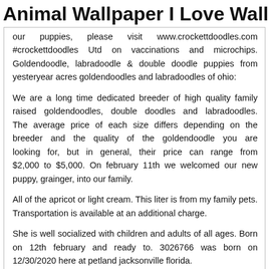Animal Wallpaper I Love Wallpaper
our puppies, please visit www.crockettdoodles.com #crockettdoodles Utd on vaccinations and microchips. Goldendoodle, labradoodle & double doodle puppies from yesteryear acres goldendoodles and labradoodles of ohio:
We are a long time dedicated breeder of high quality family raised goldendoodles, double doodles and labradoodles. The average price of each size differs depending on the breeder and the quality of the goldendoodle you are looking for, but in general, their price can range from $2,000 to $5,000. On february 11th we welcomed our new puppy, grainger, into our family.
All of the apricot or light cream. This liter is from my family pets. Transportation is available at an additional charge.
She is well socialized with children and adults of all ages. Born on 12th february and ready to. 3026766 was born on 12/30/2020 here at petland jacksonville florida.